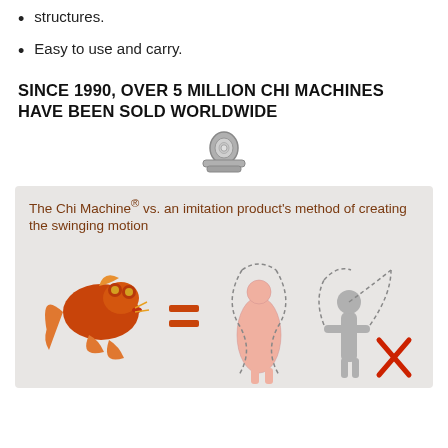structures.
Easy to use and carry.
SINCE 1990, OVER 5 MILLION CHI MACHINES HAVE BEEN SOLD WORLDWIDE
[Figure (infographic): Infographic on a clipboard showing The Chi Machine® vs. an imitation product's method of creating the swinging motion. Shows a goldfish equal sign and a human figure with a fish-like swinging motion pattern (correct), versus a human figure with a different motion pattern marked with a red X (incorrect).]